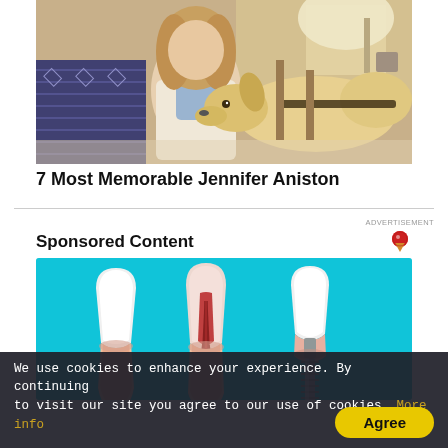[Figure (photo): Woman sitting on a couch with a golden Labrador dog resting its head on her lap, indoor setting with lamp and furniture in background]
7 Most Memorable Jennifer Aniston
ADVERTISEMENT
Sponsored Content
[Figure (illustration): Dental illustration showing cross-section of teeth including a healthy tooth, a tooth with root canal/nerve exposed, and a dental implant, on a light blue background]
We use cookies to enhance your experience. By continuing to visit our site you agree to our use of cookies. More info